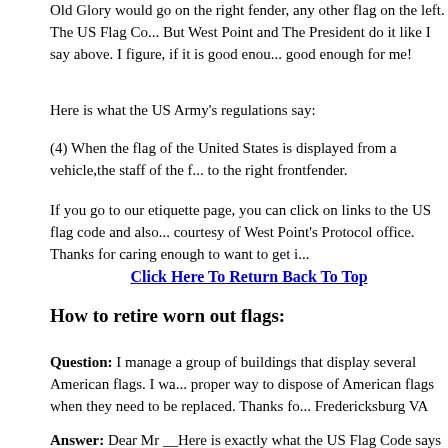Old Glory would go on the right fender, any other flag on the left. The US Flag C... But West Point and The President do it like I say above. I figure, if it is good enou... good enough for me!
Here is what the US Army's regulations say:
(4) When the flag of the United States is displayed from a vehicle,the staff of the f... to the right frontfender.
If you go to our etiquette page, you can click on links to the US flag code and also... courtesy of West Point's Protocol office. Thanks for caring enough to want to get i...
Click Here To Return Back To Top
How to retire worn out flags:
Question: I manage a group of buildings that display several American flags. I wa... proper way to dispose of American flags when they need to be replaced. Thanks fo... Fredericksburg VA
Answer: Dear Mr __Here is exactly what the US Flag Code says about retiring fla...
(k) The flag, when it is in such condition that it is no longer a fitting emblem for di... in a dignified way, preferably by burning.
Notice that the code does not say the flag must be burned. It says burning is prefer... that only Boy Scout Troops or The American Legion may do the burning. This bel... up, but, unless some state or municipality has some local law to this effect, it is an...